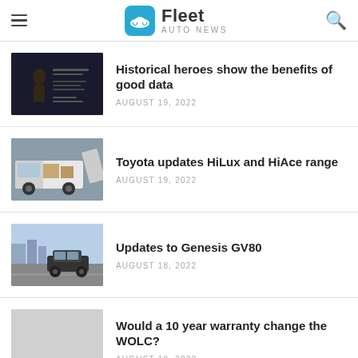Fleet Auto News
Historical heroes show the benefits of good data — AUGUST 19, 2022
Toyota updates HiLux and HiAce range — AUGUST 19, 2022
Updates to Genesis GV80 — AUGUST 18, 2022
Would a 10 year warranty change the WOLC? — AUGUST 18, 2022